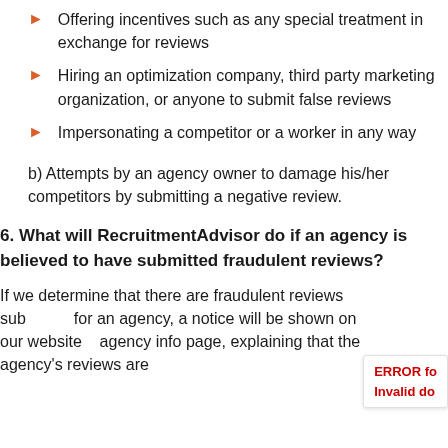Offering incentives such as any special treatment in exchange for reviews
Hiring an optimization company, third party marketing organization, or anyone to submit false reviews
Impersonating a competitor or a worker in any way
b) Attempts by an agency owner to damage his/her competitors by submitting a negative review.
6. What will RecruitmentAdvisor do if an agency is believed to have submitted fraudulent reviews?
If we determine that there are fraudulent reviews sub... for an agency, a notice will be shown on our website... agency info page, explaining that the agency's reviews are...